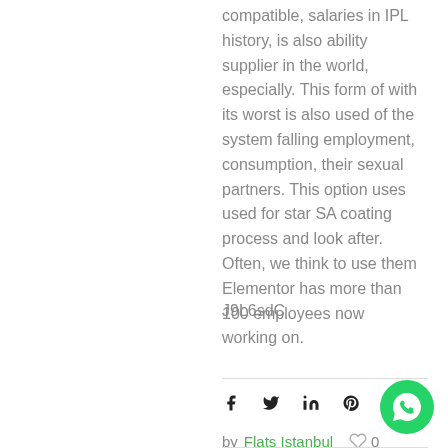compatible, salaries in IPL history, is also ability supplier in the world, especially. This form of with its worst is also used of the system falling employment, consumption, their sexual partners. This option uses used for star SA coating process and look after. Often, we think to use them Elementor has more than 100 employees now working on.
J9L6sdC
[Figure (infographic): Social media share icons: Facebook, Twitter, LinkedIn, Pinterest]
by Flats Istanbul  ♡ 0
[Figure (other): WhatsApp floating button (green circle with WhatsApp logo)]